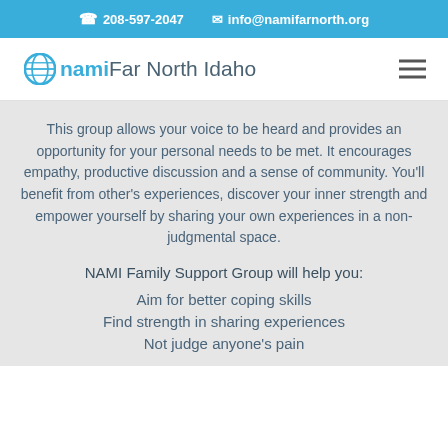208-597-2047   info@namifarnorth.org
[Figure (logo): NAMI Far North Idaho logo with circular globe icon and text]
This group allows your voice to be heard and provides an opportunity for your personal needs to be met. It encourages empathy, productive discussion and a sense of community. You'll benefit from other's experiences, discover your inner strength and empower yourself by sharing your own experiences in a non-judgmental space.
NAMI Family Support Group will help you:
Aim for better coping skills
Find strength in sharing experiences
Not judge anyone's pain